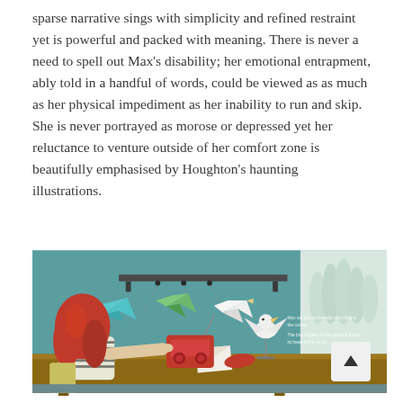sparse narrative sings with simplicity and refined restraint yet is powerful and packed with meaning. There is never a need to spell out Max's disability; her emotional entrapment, ably told in a handful of words, could be viewed as as much as her physical impediment as her inability to run and skip. She is never portrayed as morose or depressed yet her reluctance to venture outside of her comfort zone is beautifully emphasised by Houghton's haunting illustrations.
[Figure (illustration): Book illustration showing a red-haired girl sitting at a wooden desk, reaching toward a red radio. Origami paper birds (cyan, green, white dove) hang from a shelf on a teal wall. A white bird with spread wings stands on the desk. White tree-like shapes visible through a window on the right. Small white text overlaid on the teal background.]